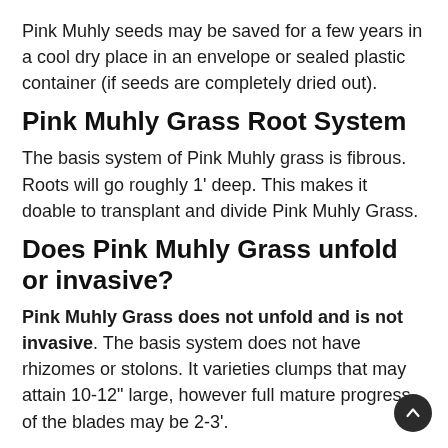Pink Muhly seeds may be saved for a few years in a cool dry place in an envelope or sealed plastic container (if seeds are completely dried out).
Pink Muhly Grass Root System
The basis system of Pink Muhly grass is fibrous. Roots will go roughly 1' deep. This makes it doable to transplant and divide Pink Muhly Grass.
Does Pink Muhly Grass unfold or invasive?
Pink Muhly Grass does not unfold and is not invasive. The basis system does not have rhizomes or stolons. It varieties clumps that may attain 10-12" large, however full mature progress of the blades may be 2-3'.